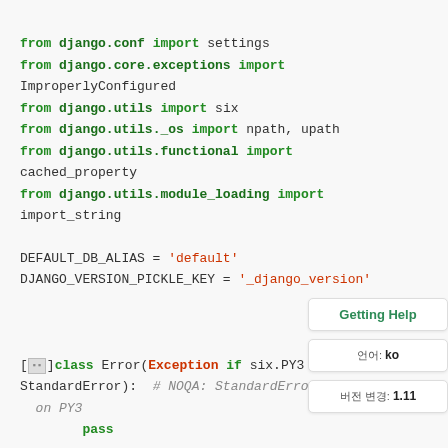[Figure (screenshot): Python source code snippet showing Django imports and class definitions, with a 'Getting Help' sidebar panel in Korean indicating language 'ko' and version '1.11'.]